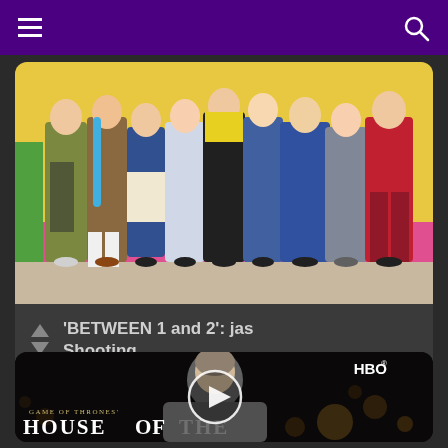Menu / Search
[Figure (photo): K-pop girl group photo with colorful outfits in front of a yellow and pink background]
'BETWEEN 1 and 2': jas Shooting
added by Blacklillium
[Figure (screenshot): HBO Game of Thrones: House of the Dragon promotional video thumbnail with play button overlay]